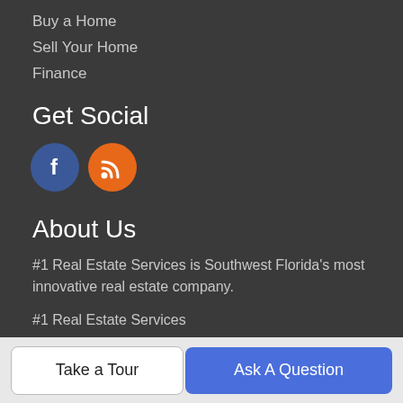Buy a Home
Sell Your Home
Finance
Get Social
[Figure (illustration): Two social media icons: a blue Facebook circle and an orange RSS feed circle]
About Us
#1 Real Estate Services is Southwest Florida's most innovative real estate company.
#1 Real Estate Services
2726 Oak Ridge Ct, Suite 502
Fort Myers , FL 33901
(239) 994-7529
Take a Tour
Ask A Question